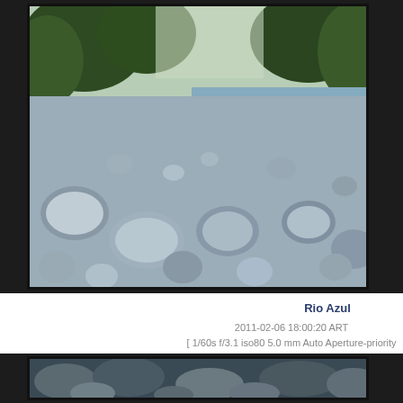[Figure (photo): Photograph of Rio Azul river with rocky riverbed in the foreground, flowing water to the right, and dense green forest on both sides in the background. Light blue-grey tones throughout.]
Rio Azul
2011-02-06 18:00:20 ART
[ 1/60s f/3.1 iso80 5.0 mm Auto Aperture-priority AE
[Figure (photo): Photograph showing close-up of rocks and boulders, partially submerged or near water, in dark bluish tones.]